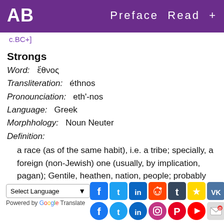AB   Preface  Read  +
c.BC+]
Strongs
Word:  ἔθνος
Transliteration:  éthnos
Pronounciation:  eth'-nos
Language:  Greek
Morphhology:  Noun Neuter
Definition:
a race (as of the same habit), i.e. a tribe; specially, a foreign (non-Jewish) one (usually, by implication, pagan); Gentile, heathen, nation, people; probably from g1486 (ἔθω);
Select Language  Powered by Google Translate
[Figure (screenshot): Social media sharing icons in two rows: Facebook, Twitter, LinkedIn, Reddit, Tumblr, Bookmarks, VK, Weibo (top row); Facebook, Twitter, LinkedIn, Instagram, Pinterest, YouTube, Email, Buy (bottom row)]